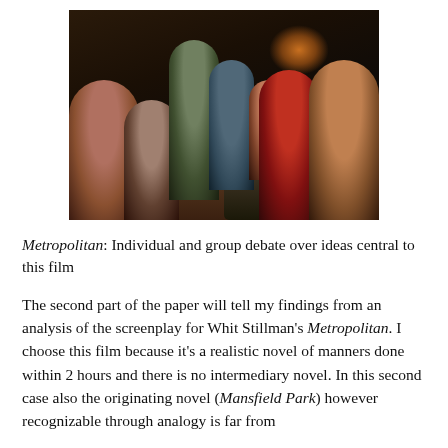[Figure (photo): A dark interior scene showing a group of young people sitting in a circle, engaged in conversation or debate. The room is dimly lit with a warm lamp glow in the background. People are seated on chairs and a floor ottoman.]
Metropolitan: Individual and group debate over ideas central to this film
The second part of the paper will tell my findings from an analysis of the screenplay for Whit Stillman's Metropolitan. I choose this film because it's a realistic novel of manners done within 2 hours and there is no intermediary novel. In this second case also the originating novel (Mansfield Park) however recognizable through analogy is far from